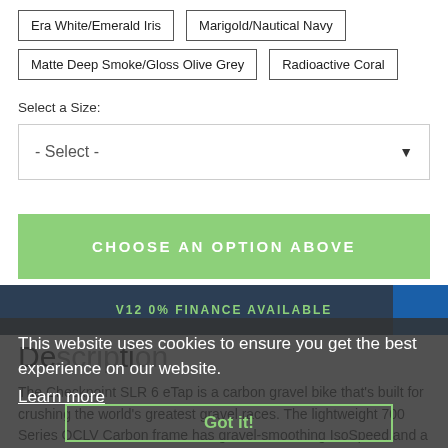Era White/Emerald Iris
Marigold/Nautical Navy
Matte Deep Smoke/Gloss Olive Grey
Radioactive Coral
Select a Size:
- Select -
CHOOSE AN OPTION ABOVE
V12 0% FINANCE AVAILABLE
This website uses cookies to ensure you get the best experience on our website.
Learn more
Description
The Checkpoint SLR 6 eTap is a carbon gravel bike that's built for crushing the world's greatest gravel races. The lightweight 700 Series OCLV Carbon frame has gravel-smoothing IsoSpeed and a nimble-yet-stable progressive geometry. Plus, a smart and smooth SRAM Rival wireless electronic drivetrain with power
Got it!